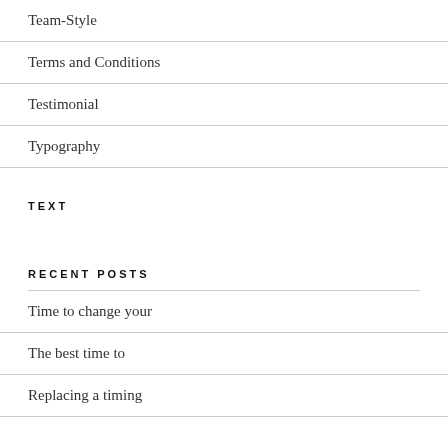Team-Style
Terms and Conditions
Testimonial
Typography
TEXT
RECENT POSTS
Time to change your
The best time to
Replacing a timing